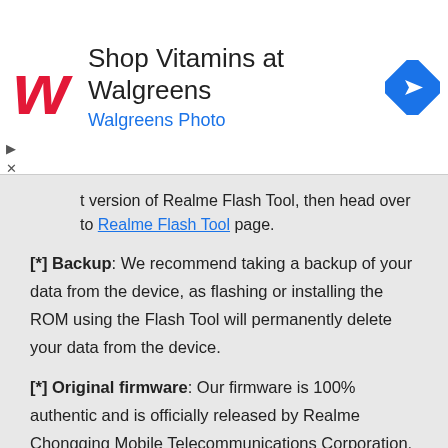[Figure (advertisement): Walgreens advertisement banner with Walgreens 'W' logo, text 'Shop Vitamins at Walgreens' and 'Walgreens Photo', and a blue navigation/directions icon on the right.]
t version of Realme Flash Tool, then head over to Realme Flash Tool page.
[*] Backup: We recommend taking a backup of your data from the device, as flashing or installing the ROM using the Flash Tool will permanently delete your data from the device.
[*] Original firmware: Our firmware is 100% authentic and is officially released by Realme Chongqing Mobile Telecommunications Corporation, Ltd. We have scanned the above firmware using Malwarebytes Premium before sharing it online.